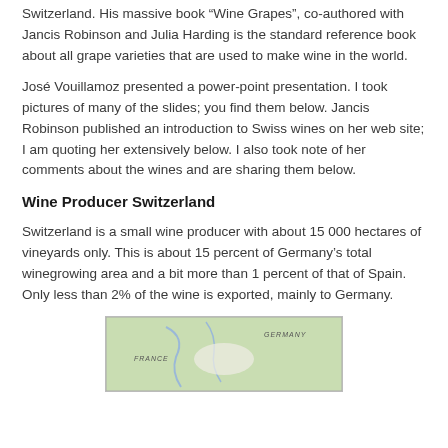Switzerland. His massive book “Wine Grapes”, co-authored with Jancis Robinson and Julia Harding is the standard reference book about all grape varieties that are used to make wine in the world.
José Vouillamoz presented a power-point presentation. I took pictures of many of the slides; you find them below. Jancis Robinson published an introduction to Swiss wines on her web site; I am quoting her extensively below. I also took note of her comments about the wines and are sharing them below.
Wine Producer Switzerland
Switzerland is a small wine producer with about 15 000 hectares of vineyards only. This is about 15 percent of Germany’s total winegrowing area and a bit more than 1 percent of that of Spain. Only less than 2% of the wine is exported, mainly to Germany.
[Figure (map): Map showing Switzerland and surrounding regions including France and Germany]